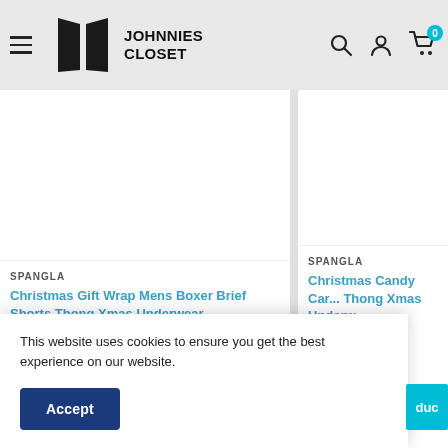[Figure (logo): Johnnies Closet logo with two door/book shapes and bold text JOHNNIES CLOSET]
Johnnies Closet website header with hamburger menu, logo, search icon, account icon, and cart icon with 0 badge
SPANGLA
Christmas Gift Wrap Mens Boxer Brief Shorts Thong Xmas Underwear
$40.95
SPANGLA
Christmas Candy Car... Thong Xmas Underw...
$44.95
This website uses cookies to ensure you get the best experience on our website.
Accept